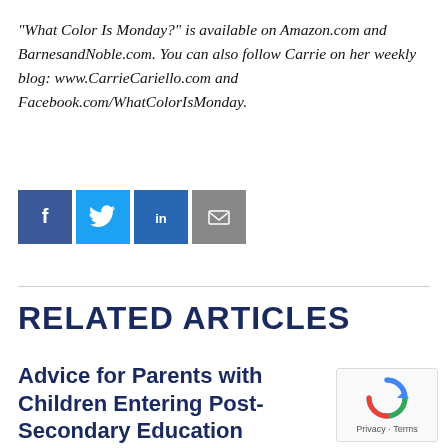“What Color Is Monday?” is available on Amazon.com and BarnesandNoble.com. You can also follow Carrie on her weekly blog: www.CarrieCariello.com and Facebook.com/WhatColorIsMonday.
[Figure (infographic): Social media sharing icons: Facebook (blue), Twitter (light blue), LinkedIn (dark blue), Email (grey)]
RELATED ARTICLES
Advice for Parents with Children Entering Post-Secondary Education